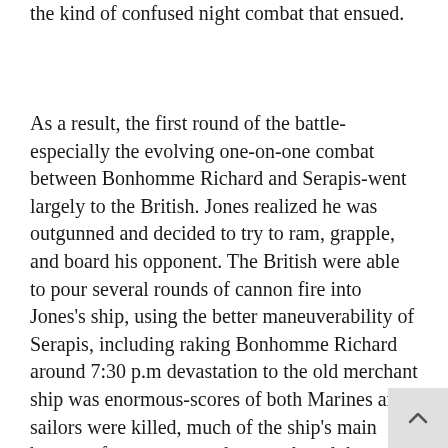the kind of confused night combat that ensued.
As a result, the first round of the battle-especially the evolving one-on-one combat between Bonhomme Richard and Serapis-went largely to the British. Jones realized he was outgunned and decided to try to ram, grapple, and board his opponent. The British were able to pour several rounds of cannon fire into Jones's ship, using the better maneuverability of Serapis, including raking Bonhomme Richard around 7:30 p.m devastation to the old merchant ship was enormous-scores of both Marines and sailors were killed, much of the ship's main battery of cannon were destroyed, and the American ship was holed below the waterline in several places.